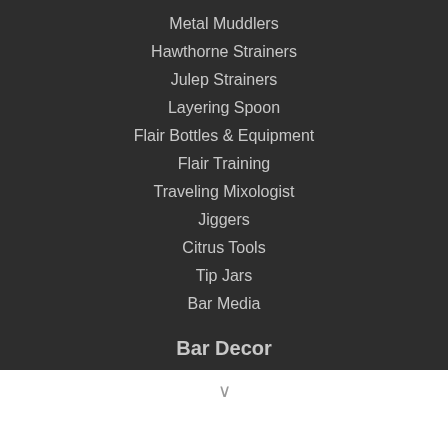Metal Muddlers
Hawthorne Strainers
Julep Strainers
Layering Spoon
Flair Bottles & Equipment
Flair Training
Traveling Mixologist
Jiggers
Citrus Tools
Tip Jars
Bar Media
Bar Decor